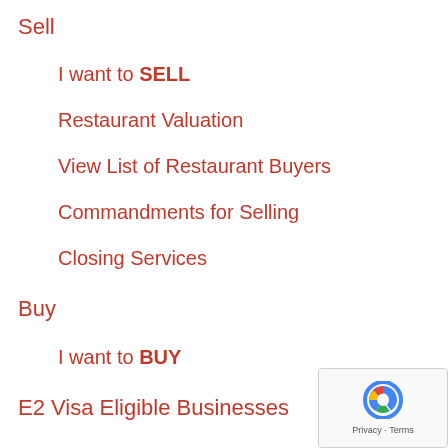Sell
I want to SELL
Restaurant Valuation
View List of Restaurant Buyers
Commandments for Selling
Closing Services
Buy
I want to BUY
E2 Visa Eligible Businesses
Juicy Information
Commandments for Selling a Restaurant, Bar or Nightclub
Top 5 Reasons to Sell